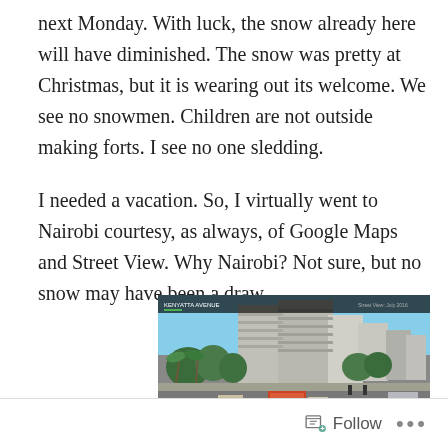next Monday. With luck, the snow already here will have diminished. The snow was pretty at Christmas, but it is wearing out its welcome. We see no snowmen. Children are not outside making forts. I see no one sledding.
I needed a vacation. So, I virtually went to Nairobi courtesy, as always, of Google Maps and Street View. Why Nairobi? Not sure, but no snow may have been a draw.
[Figure (screenshot): Google Street View screenshot of Nairobi, Kenya showing urban buildings, trees, and street with traffic. A minimap is visible in the lower left corner.]
Follow ···